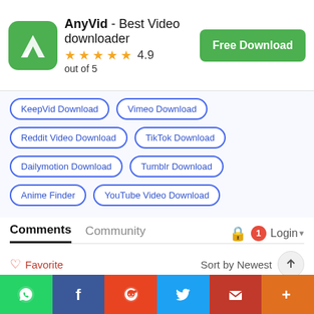AnyVid - Best Video downloader 4.9 out of 5
KeepVid Download
Vimeo Download
Reddit Video Download
TikTok Download
Dailymotion Download
Tumblr Download
Anime Finder
YouTube Video Download
Comments  Community  Login
♡ Favorite   Sort by Newest